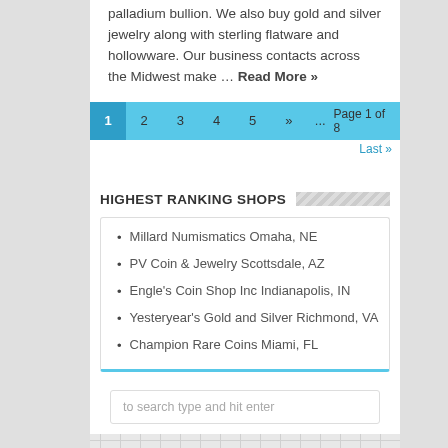palladium bullion. We also buy gold and silver jewelry along with sterling flatware and hollowware. Our business contacts across the Midwest make … Read More »
1 2 3 4 5 » ... Page 1 of 8 Last »
HIGHEST RANKING SHOPS
Millard Numismatics Omaha, NE
PV Coin & Jewelry Scottsdale, AZ
Engle's Coin Shop Inc Indianapolis, IN
Yesteryear's Gold and Silver Richmond, VA
Champion Rare Coins Miami, FL
to search type and hit enter